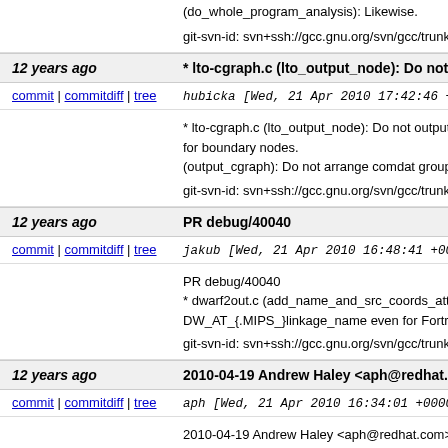(do_whole_program_analysis): Likewise.
git-svn-id: svn+ssh://gcc.gnu.org/svn/gcc/trunk@1
12 years ago * lto-cgraph.c (lto_output_node): Do not output
commit | commitdiff | tree
hubicka [Wed, 21 Apr 2010 17:42:46 +0000
* lto-cgraph.c (lto_output_node): Do not output com for boundary nodes.
(output_cgraph): Do not arrange comdat groups f
git-svn-id: svn+ssh://gcc.gnu.org/svn/gcc/trunk@1
12 years ago PR debug/40040
commit | commitdiff | tree
jakub [Wed, 21 Apr 2010 16:48:41 +0000 (
PR debug/40040
* dwarf2out.c (add_name_and_src_coords_attribu DW_AT_{.MIPS_}linkage_name even for Fortran d
git-svn-id: svn+ssh://gcc.gnu.org/svn/gcc/trunk@1
12 years ago 2010-04-19 Andrew Haley <aph@redhat.com>
commit | commitdiff | tree
aph [Wed, 21 Apr 2010 16:34:01 +0000 (16
2010-04-19 Andrew Haley <aph@redhat.com>